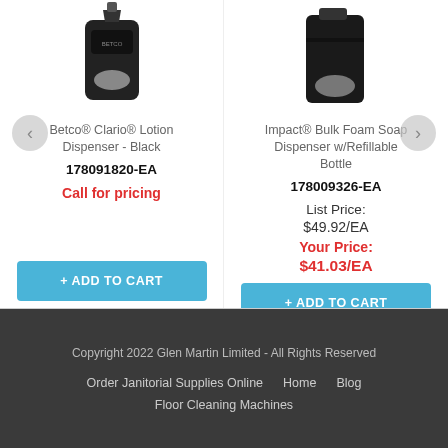[Figure (photo): Betco Clario Lotion Dispenser - Black product image (partial, top portion)]
Betco® Clario® Lotion Dispenser - Black
178091820-EA
Call for pricing
[Figure (photo): Impact Bulk Foam Soap Dispenser w/Refillable Bottle product image (partial, top portion)]
Impact® Bulk Foam Soap Dispenser w/Refillable Bottle
178009326-EA
List Price: $49.92/EA Your Price: $41.03/EA
Copyright 2022 Glen Martin Limited - All Rights Reserved
Order Janitorial Supplies Online   Home   Blog
Floor Cleaning Machines